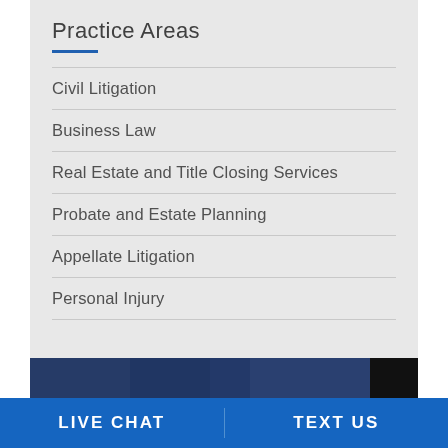Practice Areas
Civil Litigation
Business Law
Real Estate and Title Closing Services
Probate and Estate Planning
Appellate Litigation
Personal Injury
[Figure (photo): Dark blue background image strip at bottom of panel]
LIVE CHAT
TEXT US